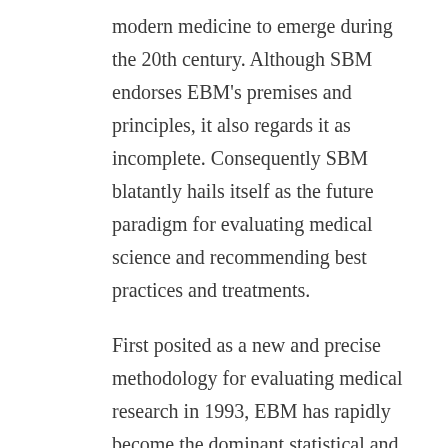modern medicine to emerge during the 20th century. Although SBM endorses EBM's premises and principles, it also regards it as incomplete. Consequently SBM blatantly hails itself as the future paradigm for evaluating medical science and recommending best practices and treatments.
First posited as a new and precise methodology for evaluating medical research in 1993, EBM has rapidly become the dominant statistical and clinical model for developing healthcare strategies in clinical settings. It is also the most prevalent theory in use today for determining the accuracy of peer-reviewed journal articles,